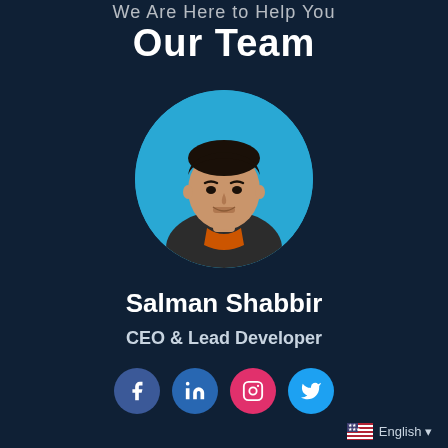We Are Here to Help You
Our Team
[Figure (photo): Circular profile photo of Salman Shabbir on a light blue background. Man with dark hair wearing a floral/patterned shirt.]
Salman Shabbir
CEO & Lead Developer
[Figure (infographic): Social media icon buttons: Facebook (blue), LinkedIn (blue), Instagram (red), Twitter (light blue)]
English ▾